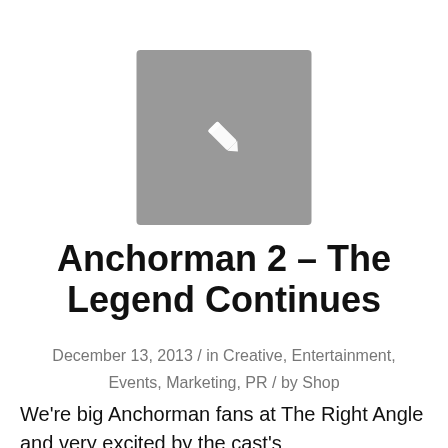[Figure (illustration): Gray square box with a white pencil/edit icon in the center]
Anchorman 2 – The Legend Continues
December 13, 2013 / in Creative, Entertainment, Events, Marketing, PR / by Shop
We're big Anchorman fans at The Right Angle and very excited by the cast's